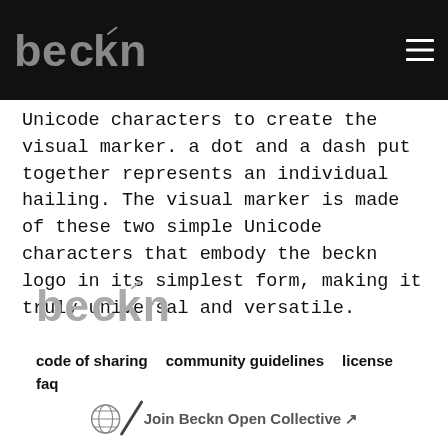beckn
Unicode characters to create the visual marker. a dot and a dash put together represents an individual hailing. The visual marker is made of these two simple Unicode characters that embody the beckn logo in its simplest form, making it truly universal and versatile.
[Figure (logo): beckn logo in grey on white background]
code of sharing
community guidelines
license
faq
Join Beckn Open Collective ↗